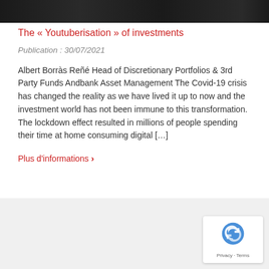[Figure (photo): Black and white image strip showing partial view of people or objects, cropped at top of page]
The « Youtuberisation » of investments
Publication : 30/07/2021
Albert Borràs Reñé Head of Discretionary Portfolios & 3rd Party Funds Andbank Asset Management The Covid-19 crisis has changed the reality as we have lived it up to now and the investment world has not been immune to this transformation. The lockdown effect resulted in millions of people spending their time at home consuming digital […]
Plus d'informations ›